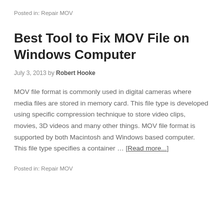Posted in: Repair MOV
Best Tool to Fix MOV File on Windows Computer
July 3, 2013 by Robert Hooke
MOV file format is commonly used in digital cameras where media files are stored in memory card. This file type is developed using specific compression technique to store video clips, movies, 3D videos and many other things. MOV file format is supported by both Macintosh and Windows based computer. This file type specifies a container … [Read more...]
Posted in: Repair MOV